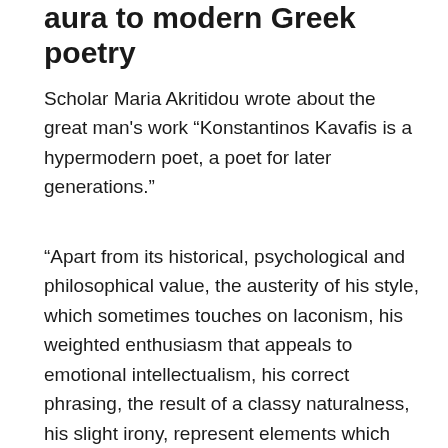aura to modern Greek poetry
Scholar Maria Akritidou wrote about the great man's work “Konstantinos Kavafis is a hypermodern poet, a poet for later generations.”
“Apart from its historical, psychological and philosophical value, the austerity of his style, which sometimes touches on laconism, his weighted enthusiasm that appeals to emotional intellectualism, his correct phrasing, the result of a classy naturalness, his slight irony, represent elements which will be further appreciated by future generations, motivated by the progress of the discoveries and the subtlety of the mental